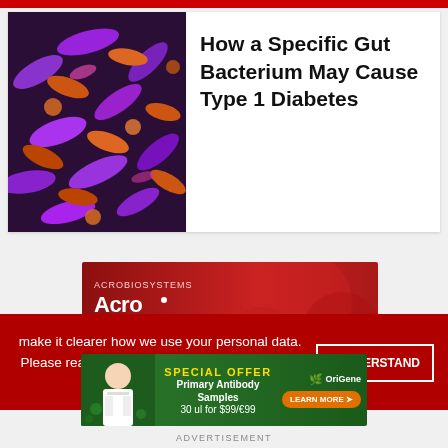[Figure (photo): Microscopic image of colorful gut bacteria — purple and orange/brown rod-shaped bacteria against a dark background]
How a Specific Gut Bacterium May Cause Type 1 Diabetes
[Figure (illustration): Acro Biosystems advertisement banner with red background showing: 'Broadly & variant-specific antibodies — For variant-based and polyvalent vaccine R&D']
make it clearer how we use your personal data.
Please read our Cookie Policy to learn how we use cookies to provide you
[Figure (illustration): OriGene advertisement: Special Offer — Primary Antibody Samples 30 ul for $99/€99 with Learn More button and OriGene logo]
ADVERTISEMENT